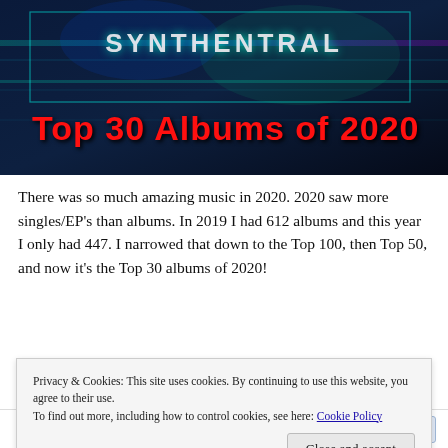[Figure (photo): Banner image with synthwave/futuristic visual style showing text 'SYNTHENTRAL' in neon colors. Overlaid bold red text reads 'Top 30 Albums of 2020'.]
There was so much amazing music in 2020. 2020 saw more singles/EP's than albums. In 2019 I had 612 albums and this year I only had 447. I narrowed that down to the Top 100, then Top 50, and now it's the Top 30 albums of 2020!
I have several rules I work with when getting to my Top 30
Privacy & Cookies: This site uses cookies. By continuing to use this website, you agree to their use.
To find out more, including how to control cookies, see here: Cookie Policy
Close and accept